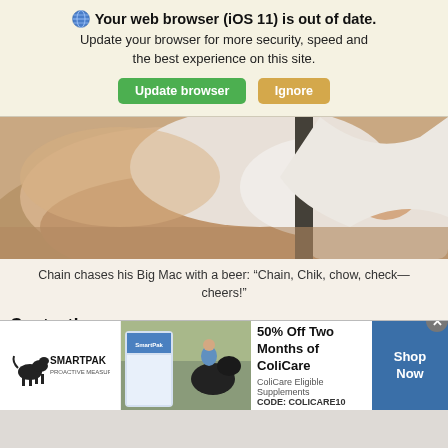🌐 Your web browser (iOS 11) is out of date. Update your browser for more security, speed and the best experience on this site. [Update browser] [Ignore]
[Figure (photo): Close-up photo of a person's arm holding or near a swaddled newborn baby in white cloth]
Chain chases his Big Mac with a beer: “Chain, Chik, chow, check—cheers!”
Contact!
(partial text line cut off)
[Figure (screenshot): SmartPak advertisement banner: '50% Off Two Months of ColiCare, ColiCare Eligible Supplements, CODE: COLICARE10, Shop Now']